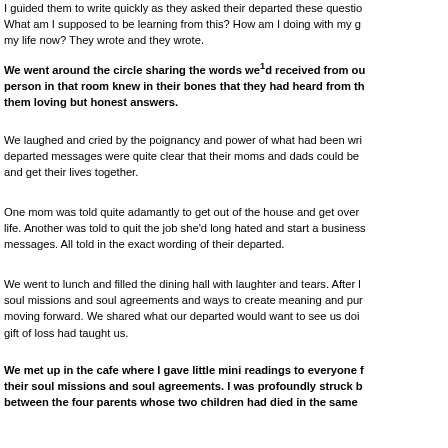I guided them to write quickly as they asked their departed these questions: What am I supposed to be learning from this? How am I doing with my grief? my life now? They wrote and they wrote.
We went around the circle sharing the words we'd received from our departed. Every person in that room knew in their bones that they had heard from their loved ones, giving them loving but honest answers.
We laughed and cried by the poignancy and power of what had been written. The departed messages were quite clear that their moms and dads could be doing better and get their lives together.
One mom was told quite adamantly to get out of the house and get over a certain man in her life. Another was told to quit the job she'd long hated and start a business. Incredibly direct messages. All told in the exact wording of their departed.
We went to lunch and filled the dining hall with laughter and tears. After lunch we discussed soul missions and soul agreements and ways to create meaning and purpose in our lives moving forward. We shared what our departed would want to see us doing and what the gift of loss had taught us.
We met up in the cafe where I gave little mini readings to everyone further confirming their soul missions and soul agreements. I was profoundly struck by the connection between the four parents whose two children had died in the same